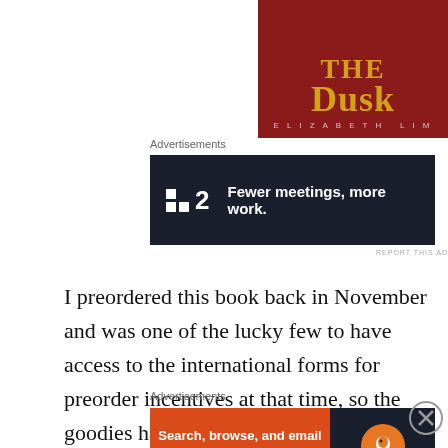[Figure (photo): Book cover showing 'The Dusk' by Elizabeth Lim on a dark red background with gold text]
Advertisements
[Figure (other): Advertisement banner for monday.com (F2): 'Fewer meetings, more work.']
I preordered this book back in November and was one of the lucky few to have access to the international forms for preorder incentives at that time, so the goodies have arrived! They got here right on my birthday, which was a nice coincidence, and if the contents of the books are as good as the contents of the goodies envelope, I'm expecting
Advertisements
[Figure (other): DuckDuckGo advertisement: 'Search, browse, and email with more privacy. All in One Free App']